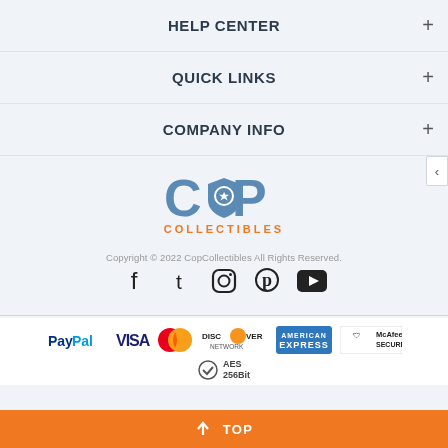HELP CENTER
QUICK LINKS
COMPANY INFO
[Figure (logo): COP Collectibles logo with shield icon in blue and orange text]
Copyright © 2022 CopCollectibles All Rights Reserved.
[Figure (infographic): Social media icons: Facebook, Twitter, Instagram, Pinterest, YouTube]
[Figure (infographic): Payment method logos: PayPal, VISA, Mastercard, Discover Network, American Express, McAfee Secure, AES 256Bit]
↑ TOP